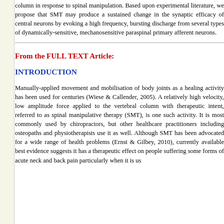column in response to spinal manipulation. Based upon experimental literature, we propose that SMT may produce a sustained change in the synaptic efficacy of central neurons by evoking a high frequency, bursting discharge from several types of dynamically-sensitive, mechanosensitive paraspinal primary afferent neurons.
From the FULL TEXT Article:
INTRODUCTION
Manually-applied movement and mobilisation of body joints as a healing activity has been used for centuries (Wiese & Callender, 2005). A relatively high velocity, low amplitude force applied to the vertebral column with therapeutic intent, referred to as spinal manipulative therapy (SMT), is one such activity. It is most commonly used by chiropractors, but other healthcare practitioners including osteopaths and physiotherapists use it as well. Although SMT has been advocated for a wide range of health problems (Ernst & Gilbey, 2010), currently available best evidence suggests it has a therapeutic effect on people suffering some forms of acute neck and back pain particularly when it is us...